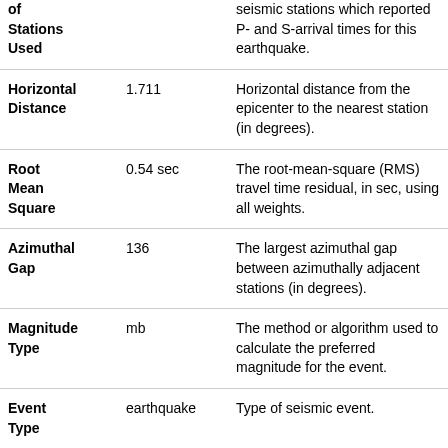| Field | Value | Description |
| --- | --- | --- |
| of Stations Used |  | seismic stations which reported P- and S-arrival times for this earthquake. |
| Horizontal Distance | 1.711 | Horizontal distance from the epicenter to the nearest station (in degrees). |
| Root Mean Square | 0.54 sec | The root-mean-square (RMS) travel time residual, in sec, using all weights. |
| Azimuthal Gap | 136 | The largest azimuthal gap between azimuthally adjacent stations (in degrees). |
| Magnitude Type | mb | The method or algorithm used to calculate the preferred magnitude for the event. |
| Event Type | earthquake | Type of seismic event. |
| Event ID | us6000b3zu | Id of event. |